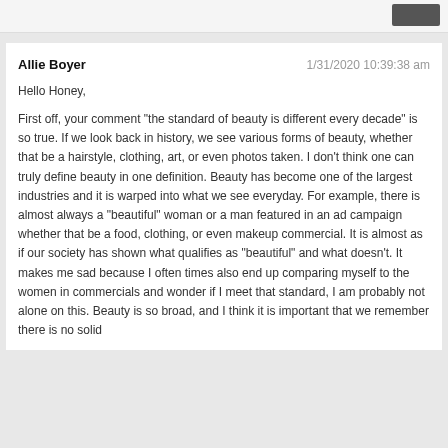Allie Boyer
1/31/2020 10:39:38 am
Hello Honey,
First off, your comment "the standard of beauty is different every decade" is so true. If we look back in history, we see various forms of beauty, whether that be a hairstyle, clothing, art, or even photos taken. I don't think one can truly define beauty in one definition. Beauty has become one of the largest industries and it is warped into what we see everyday. For example, there is almost always a "beautiful" woman or a man featured in an ad campaign whether that be a food, clothing, or even makeup commercial. It is almost as if our society has shown what qualifies as "beautiful" and what doesn't. It makes me sad because I often times also end up comparing myself to the women in commercials and wonder if I meet that standard, I am probably not alone on this. Beauty is so broad, and I think it is important that we remember there is no solid